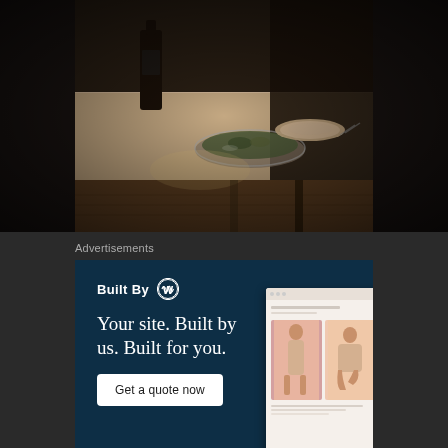[Figure (photo): Dark moody photo of a dining table scene with a glass bowl, bottle, and plates on a marble/wood table surface, dimly lit restaurant or kitchen setting]
Advertisements
[Figure (infographic): WordPress 'Built By' advertisement banner with dark navy background. Shows 'Built By' with WordPress logo, tagline 'Your site. Built by us. Built for you.', a 'Get a quote now' button, and a device mockup showing a website with a fashion photo]